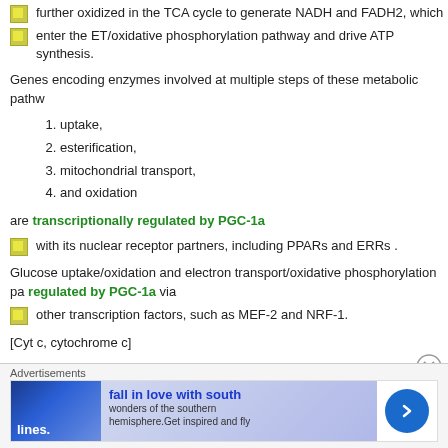further oxidized in the TCA cycle to generate NADH and FADH2, which
enter the ET/oxidative phosphorylation pathway and drive ATP synthesis.
Genes encoding enzymes involved at multiple steps of these metabolic pathw
uptake,
esterification,
mitochondrial transport,
and oxidation
are transcriptionally regulated by PGC-1a
with its nuclear receptor partners, including PPARs and ERRs .
Glucose uptake/oxidation and electron transport/oxidative phosphorylation pa regulated by PGC-1a via
other transcription factors, such as MEF-2 and NRF-1.
[Cyt c, cytochrome c]
[Figure (other): Advertisement banner: fall in love with south — wonders of the southern hemisphere. Get inspired and fly]